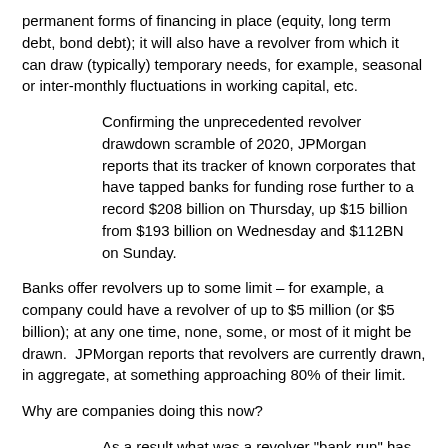permanent forms of financing in place (equity, long term debt, bond debt); it will also have a revolver from which it can draw (typically) temporary needs, for example, seasonal or inter-monthly fluctuations in working capital, etc.
Confirming the unprecedented revolver drawdown scramble of 2020, JPMorgan reports that its tracker of known corporates that have tapped banks for funding rose further to a record $208 billion on Thursday, up $15 billion from $193 billion on Wednesday and $112BN on Sunday.
Banks offer revolvers up to some limit – for example, a company could have a revolver of up to $5 million (or $5 billion); at any one time, none, some, or most of it might be drawn.  JPMorgan reports that revolvers are currently drawn, in aggregate, at something approaching 80% of their limit.
Why are companies doing this now?
As a result what was a revolver "bank run" has become a spring for the ages as virtually every